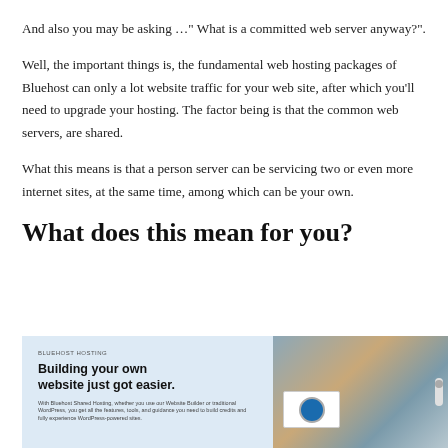And also you may be asking …" What is a committed web server anyway?".
Well, the important things is, the fundamental web hosting packages of Bluehost can only a lot website traffic for your web site, after which you'll need to upgrade your hosting. The factor being is that the common web servers, are shared.
What this means is that a person server can be servicing two or even more internet sites, at the same time, among which can be your own.
What does this mean for you?
[Figure (screenshot): Screenshot of a Bluehost website page with text 'Building your own website just got easier.' on a light blue background, with a photo of a person working on the right side.]